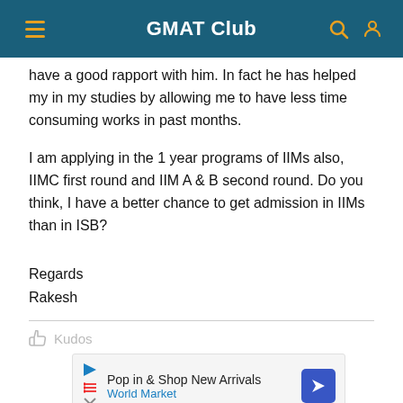GMAT Club
have a good rapport with him. In fact he has helped my in my studies by allowing me to have less time consuming works in past months.
I am applying in the 1 year programs of IIMs also, IIMC first round and IIM A & B second round. Do you think, I have a better chance to get admission in IIMs than in ISB?
Regards
Rakesh
Kudos
[Figure (screenshot): Advertisement banner: Pop in & Shop New Arrivals, World Market]